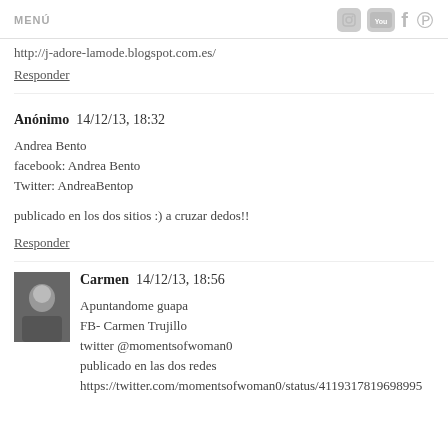MENÚ
http://j-adore-lamode.blogspot.com.es/
Responder
Anónimo  14/12/13, 18:32
Andrea Bento
facebook: Andrea Bento
Twitter: AndreaBentop
publicado en los dos sitios :) a cruzar dedos!!
Responder
Carmen  14/12/13, 18:56
Apuntandome guapa
FB- Carmen Trujillo
twitter @momentsofwoman0
publicado en las dos redes
https://twitter.com/momentsofwoman0/status/4119317819698995